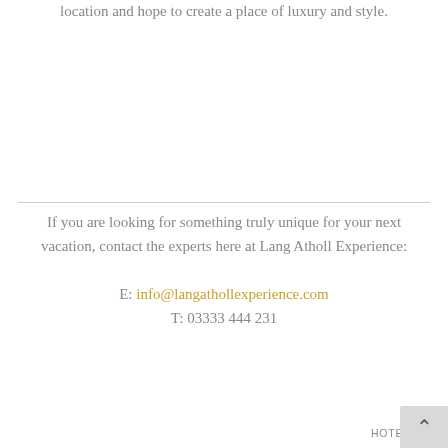location and hope to create a place of luxury and style.
If you are looking for something truly unique for your next vacation, contact the experts here at Lang Atholl Experience:

E: info@langathollexperience.com
T: 03333 444 231
HOTELS